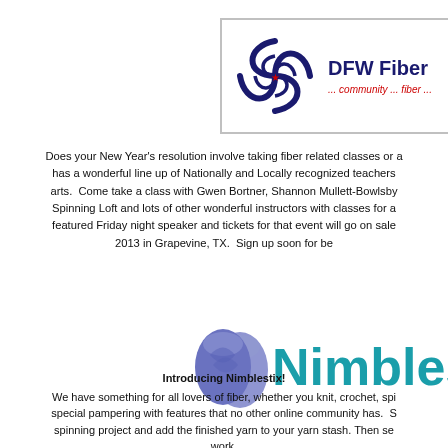[Figure (logo): DFW Fiber logo with swirling dark blue design and Texas star, with text 'DFW Fiber' and tagline '... community ... fiber ...']
Does your New Year's resolution involve taking fiber related classes or a... has a wonderful line up of Nationally and Locally recognized teachers... arts. Come take a class with Gwen Bortner, Shannon Mullett-Bowlsby... Spinning Loft and lots of other wonderful instructors with classes for a... featured Friday night speaker and tickets for that event will go on sale... 2013 in Grapevine, TX. Sign up soon for be...
[Figure (logo): Nimblestix logo with blue yarn skein graphic and 'Nimbles' teal text]
Introducing Nimblestix! We have something for all lovers of fiber, whether you knit, crochet, spi... special pampering with features that no other online community has. S... spinning project and add the finished yarn to your yarn stash. Then se... work.